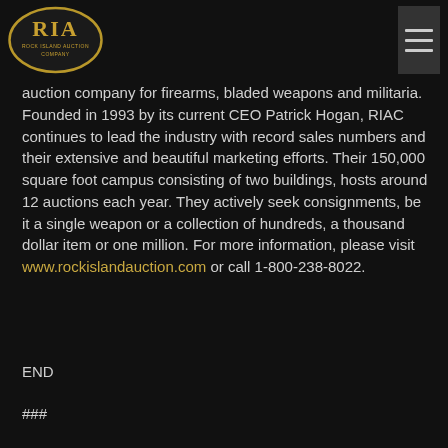[Figure (logo): RIA Rock Island Auction Company logo — gold oval with RIA letters]
auction company for firearms, bladed weapons and militaria. Founded in 1993 by its current CEO Patrick Hogan, RIAC continues to lead the industry with record sales numbers and their extensive and beautiful marketing efforts. Their 150,000 square foot campus consisting of two buildings, hosts around 12 auctions each year. They actively seek consignments, be it a single weapon or a collection of hundreds, a thousand dollar item or one million. For more information, please visit www.rockislandauction.com or call 1-800-238-8022.
END
###